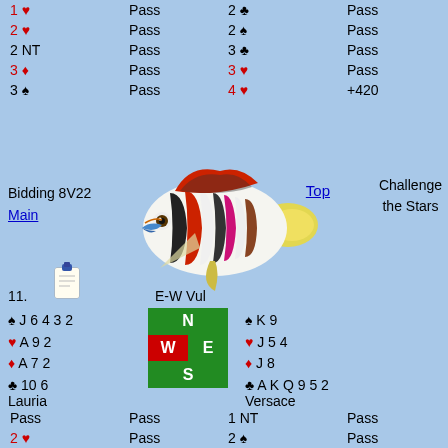| South |  | North |  |
| --- | --- | --- | --- |
| 1 ♥ | Pass | 2 ♣ | Pass |
| 2 ♥ | Pass | 2 ♠ | Pass |
| 2 NT | Pass | 3 ♣ | Pass |
| 3 ♦ | Pass | 3 ♥ | Pass |
| 3 ♠ | Pass | 4 ♥ | +420 |
[Figure (illustration): Colorful tropical angelfish illustration]
Bidding 8V22
Main
Top
Challenge the Stars
11.
E-W Vul
♠ J 6 4 3 2
♥ A 9 2
♦ A 7 2
♣ 10 6
[Figure (infographic): Bridge compass rose with N/W/E/S directions, green and red cells]
♠ K 9
♥ J 5 4
♦ J 8
♣ A K Q 9 5 2
Lauria
Versace
| West |  | East |  |
| --- | --- | --- | --- |
| Pass | Pass | 1 NT | Pass |
| 2 ♥ | Pass | 2 ♠ | Pass |
| 3 NT | +600 |  |  |